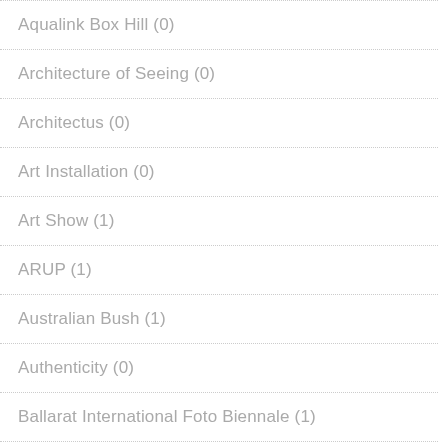Aqualink Box Hill (0)
Architecture of Seeing (0)
Architectus (0)
Art Installation (0)
Art Show (1)
ARUP (1)
Australian Bush (1)
Authenticity (0)
Ballarat International Foto Biennale (1)
Banksy (1)